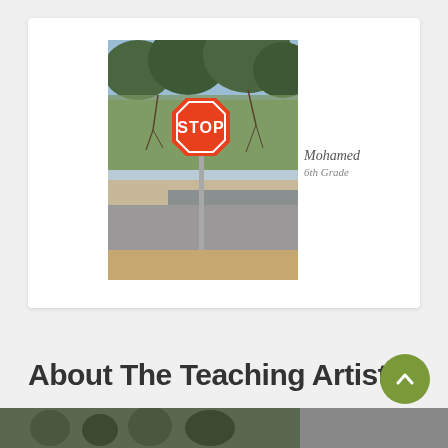[Figure (photo): Photo of a STOP sign on a metal post at a road intersection, with bare trees in the background and road surface visible. White card background.]
Mohamed
6th Grade
[Figure (infographic): Pagination dots: 10 dots in a row (first dot is olive green, rest are light gray), plus one gray dot below centered — indicating slide navigation position 1 of 11.]
About The Teaching Artist
[Figure (photo): Partial bottom image strip showing an outdoor or group scene (mostly cropped off at page bottom).]